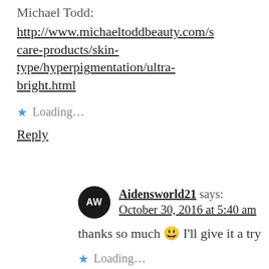Michael Todd:
http://www.michaeltoddbeauty.com/skin-care-products/skin-type/hyperpigmentation/ultra-bright.html
Loading...
Reply
Aidensworld21 says: October 30, 2016 at 5:40 am
thanks so much 😀 I'll give it a try
Loading...